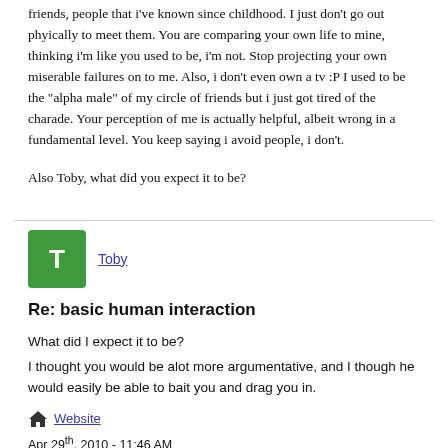friends, people that i've known since childhood. I just don't go out phyically to meet them. You are comparing your own life to mine, thinking i'm like you used to be, i'm not. Stop projecting your own miserable failures on to me. Also, i don't even own a tv :P I used to be the "alpha male" of my circle of friends but i just got tired of the charade. Your perception of me is actually helpful, albeit wrong in a fundamental level. You keep saying i avoid people, i don't.
Also Toby, what did you expect it to be?
[Figure (other): Green square avatar with letter T representing user Toby]
Toby
Re: basic human interaction
What did I expect it to be?
I thought you would be alot more argumentative, and I though he would easily be able to bait you and drag you in.
Website
Apr 29th, 2010 - 11:46 AM